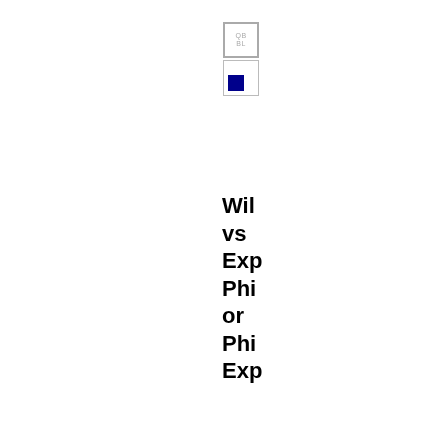[Figure (logo): Two stacked logo boxes: top box with text 'QB BL' outlined in gray, bottom box white with dark blue square in lower-left corner]
Wil vs Exp Phi or Phi Exp